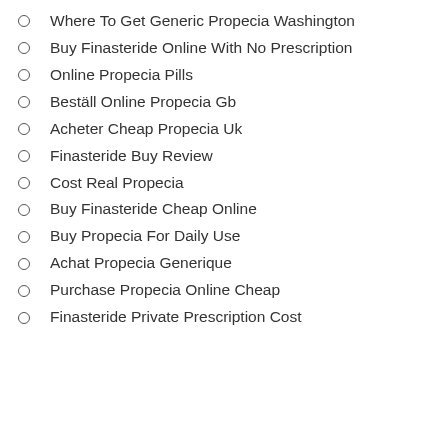Where To Get Generic Propecia Washington
Buy Finasteride Online With No Prescription
Online Propecia Pills
Beställ Online Propecia Gb
Acheter Cheap Propecia Uk
Finasteride Buy Review
Cost Real Propecia
Buy Finasteride Cheap Online
Buy Propecia For Daily Use
Achat Propecia Generique
Purchase Propecia Online Cheap
Finasteride Private Prescription Cost